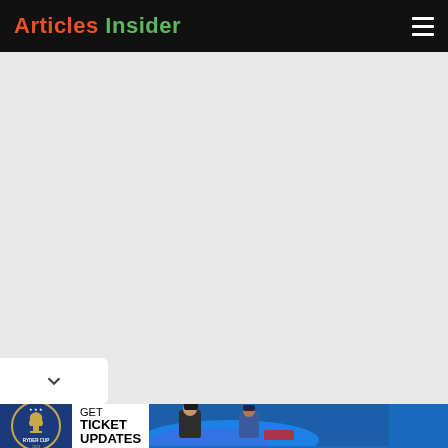Articles Insider
[Figure (screenshot): Large grey content area representing a webpage with no loaded content]
[Figure (screenshot): White chevron/dropdown box on the left side with a downward arrow (v)]
[Figure (advertisement): Ryder Cup advertisement banner showing logo, text GET TICKET UPDATES, and a photo of golfers with blue smoke]